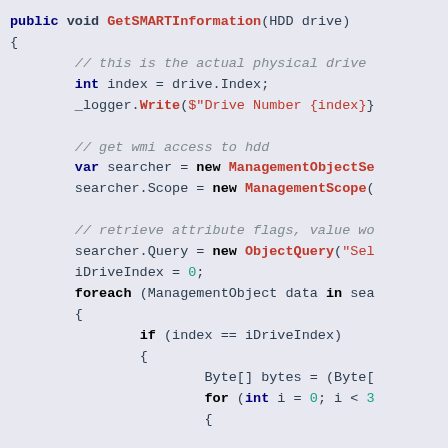[Figure (screenshot): C# source code snippet showing GetSMARTInformation method with WMI access to HDD, including variable declarations, ManagementObjectSearcher, ObjectQuery, foreach loop, and nested if block with Byte array and for loop.]